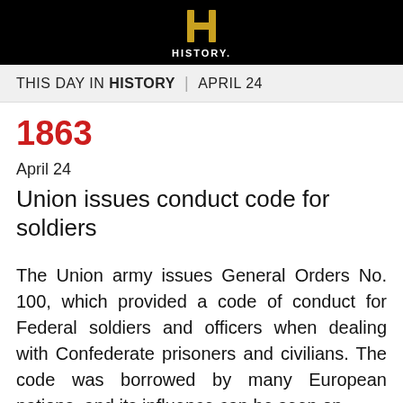[Figure (logo): History Channel logo — golden H icon with HISTORY text below, on black background]
THIS DAY IN HISTORY | APRIL 24
1863
April 24
Union issues conduct code for soldiers
The Union army issues General Orders No. 100, which provided a code of conduct for Federal soldiers and officers when dealing with Confederate prisoners and civilians. The code was borrowed by many European nations, and its influence can be seen on